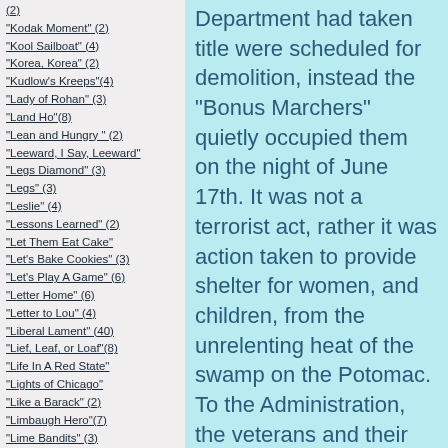(2)
"Kodak Moment" (2)
"Kool Sailboat" (4)
"Korea, Korea" (2)
"Kudlow's Kreeps"(4)
"Lady of Rohan" (3)
"Land Ho"(8)
"Lean and Hungry " (2)
"Leeward, I Say, Leeward"
"Legs Diamond" (3)
"Legs" (3)
"Leslie" (4)
"Lessons Learned" (2)
"Let Them Eat Cake"
"Let's Bake Cookies" (3)
"Let's Play A Game" (6)
"Letter Home" (6)
"Letter to Lou" (4)
"Liberal Lament" (40)
"Lief, Leaf, or Loaf"(8)
"Life In A Red State"
"Lights of Chicago"
"Like a Barack" (2)
"Limbaugh Hero"(7)
"Lime Bandits" (3)
"Lime is on my side" (6)
"Limestone Cowboys" (3)
"Lip Smackin' Good?"(6)
"Little Big Horn (2)"
Department had taken title were scheduled for demolition, instead the "Bonus Marchers" quietly occupied them on the night of June 17th. It was not a terrorist act, rather it was action taken to provide shelter for women, and children, from the unrelenting heat of the swamp on the Potomac. To the Administration, the veterans and their families were an eyesore and a humiliation. The President was determined to evict the veterans, even if he had to call out the Army. Local businesses complained, and there was a general hardening throughout the land of the attitudes of the well-fed toward